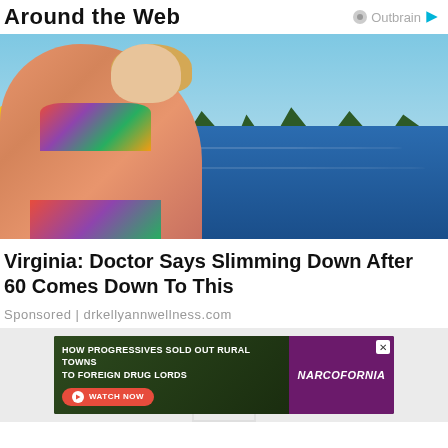Around the Web
[Figure (photo): Woman in colorful bikini sitting on a dock by a lake with trees and blue water in background]
Virginia: Doctor Says Slimming Down After 60 Comes Down To This
Sponsored | drkellyannwellness.com
[Figure (screenshot): Advertisement banner for Narcofornia video: 'How Progressives Sold Out Rural Towns To Foreign Drug Lords' with Watch Now button]